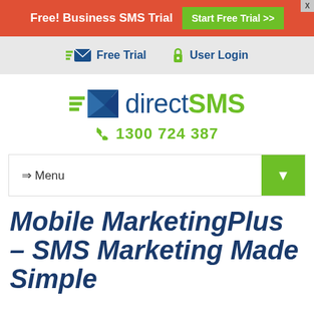Free! Business SMS Trial  Start Free Trial >>
[Figure (screenshot): directSMS website header with navigation links: Free Trial and User Login]
[Figure (logo): directSMS logo with envelope/lightning icon and phone number 1300 724 387]
[Figure (screenshot): Navigation menu bar with Menu label and green dropdown arrow button]
Mobile MarketingPlus – SMS Marketing Made Simple